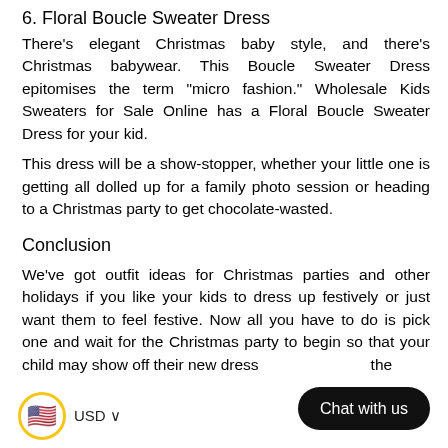6. Floral Boucle Sweater Dress
There's elegant Christmas baby style, and there's Christmas babywear. This Boucle Sweater Dress epitomises the term "micro fashion." Wholesale Kids Sweaters for Sale Online has a Floral Boucle Sweater Dress for your kid.
This dress will be a show-stopper, whether your little one is getting all dolled up for a family photo session or heading to a Christmas party to get chocolate-wasted.
Conclusion
We've got outfit ideas for Christmas parties and other holidays if you like your kids to dress up festively or just want them to feel festive. Now all you have to do is pick one and wait for the Christmas party to begin so that your child may show off their new dress and the